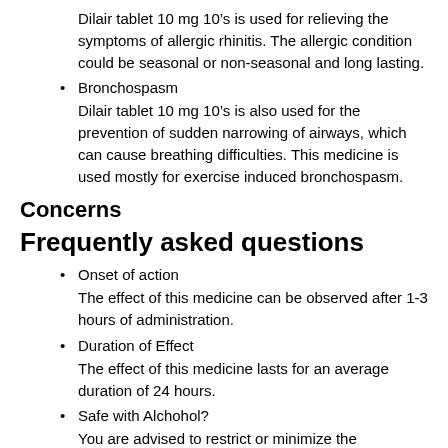Dilair tablet 10 mg 10’s is used for relieving the symptoms of allergic rhinitis. The allergic condition could be seasonal or non-seasonal and long lasting.
Bronchospasm
Dilair tablet 10 mg 10’s is also used for the prevention of sudden narrowing of airways, which can cause breathing difficulties. This medicine is used mostly for exercise induced bronchospasm.
Concerns
Frequently asked questions
Onset of action
The effect of this medicine can be observed after 1-3 hours of administration.
Duration of Effect
The effect of this medicine lasts for an average duration of 24 hours.
Safe with Alchohol?
You are advised to restrict or minimize the consumption of alcohol while using this medicine. Report any unwanted effects to the doctor on priority.